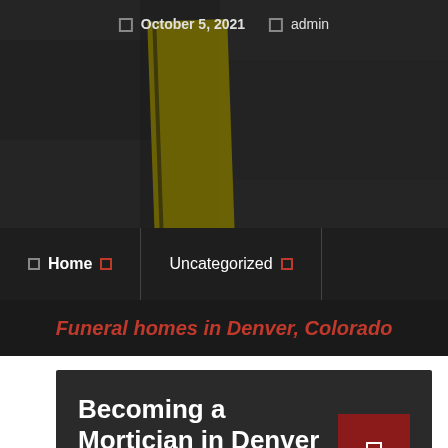October 5, 2021  admin
[Figure (photo): Dark grainy background photo, partially visible yellow/green tape reading 'OT E...' text]
Home  Uncategorized
Funeral homes in Denver, Colorado
Becoming a Mortician in Denver
The death of a loved one is very stressful and heartbreaking. It is also a very